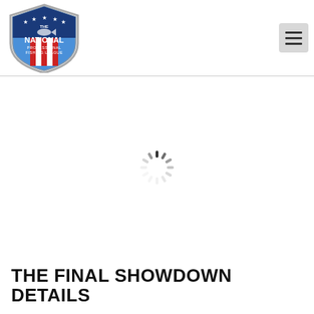[Figure (logo): The National Professional Fishing League shield logo with stars, blue and red colors, and a fish silhouette at the top]
[Figure (other): Hamburger menu icon button (three horizontal lines) on a light gray rounded rectangle background]
[Figure (other): Loading spinner animation indicator centered on the page below the header]
THE FINAL SHOWDOWN DETAILS